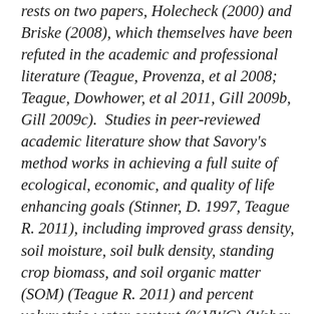rests on two papers, Holecheck (2000) and Briske (2008), which themselves have been refuted in the academic and professional literature (Teague, Provenza, et al 2008; Teague, Dowhower, et al 2011, Gill 2009b, Gill 2009c).  Studies in peer-reviewed academic literature show that Savory's method works in achieving a full suite of ecological, economic, and quality of life enhancing goals (Stinner, D. 1997, Teague R. 2011), including improved grass density, soil moisture, soil bulk density, standing crop biomass, and soil organic matter (SOM) (Teague R. 2011) and percent volumetric-water content (%VWC) (Weber K.T., Gokhale B.S., 2011), where both SOM and %VWC are indicators of soil